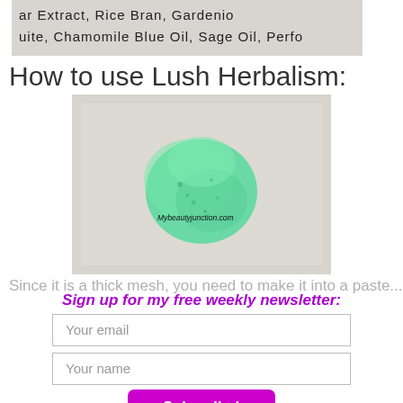[Figure (photo): Partial photo showing product ingredient label text: 'ar Extract, Rice Bran, Gardenio... uite, Chamomile Blue Oil, Sage Oil, Perfo...']
How to use Lush Herbalism:
[Figure (photo): Photo of a small green chunk/lump of Lush Herbalism product on a light grey/white surface. Watermark reads 'Mybeautyjunction.com']
Since it is a thick mesh, you need to make it into a paste...
Sign up for my free weekly newsletter:
Your email
Your name
Subscribe!